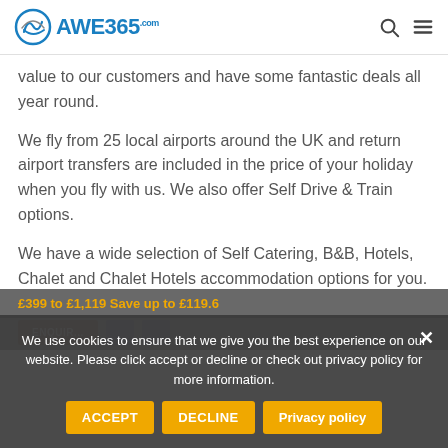AWE365.com
value to our customers and have some fantastic deals all year round.
We fly from 25 local airports around the UK and return airport transfers are included in the price of your holiday when you fly with us. We also offer Self Drive & Train options.
We have a wide selection of Self Catering, B&B, Hotels, Chalet and Chalet Hotels accommodation options for you.
£399 to £1,119 Save up to £119.6
We use cookies to ensure that we give you the best experience on our website. Please click accept or decline or check out privacy policy for more information.